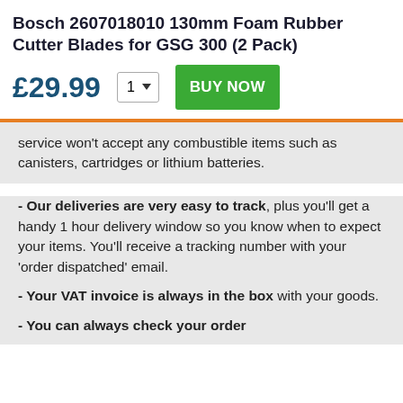Bosch 2607018010 130mm Foam Rubber Cutter Blades for GSG 300 (2 Pack)
£29.99  1 ▼  BUY NOW
service won't accept any combustible items such as canisters, cartridges or lithium batteries.
- Our deliveries are very easy to track, plus you'll get a handy 1 hour delivery window so you know when to expect your items. You'll receive a tracking number with your 'order dispatched' email.
- Your VAT invoice is always in the box with your goods.
- You can always check your order...